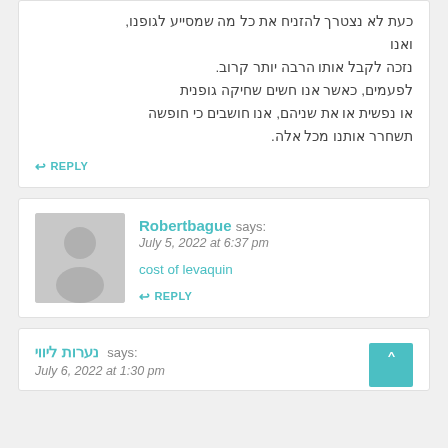כעת לא נצטרך להזניח את כל מה שמסייע לגופנו, ואנו נזכה לקבל אותו הרבה יותר קרוב. לפעמים, כאשר אנו חשים שחיקה גופנית או נפשית או את שניהם, אנו חושבים כי חופשה תשחרר אותנו מכל אלה.
Robertbague says:
July 5, 2022 at 6:37 pm
cost of levaquin
נערות ליווי says:
July 6, 2022 at 1:30 pm